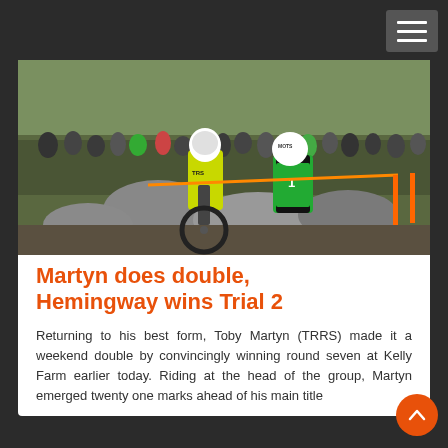[Figure (photo): Two motorbike trials riders on rocky terrain with a crowd watching in the background. One rider wears a yellow TRS jersey and white helmet, another wears a green vest with number 1 and a MOTS helmet. Green hillside visible in background.]
Martyn does double, Hemingway wins Trial 2
Returning to his best form, Toby Martyn (TRRS) made it a weekend double by convincingly winning round seven at Kelly Farm earlier today. Riding at the head of the group, Martyn emerged twenty one marks ahead of his main title